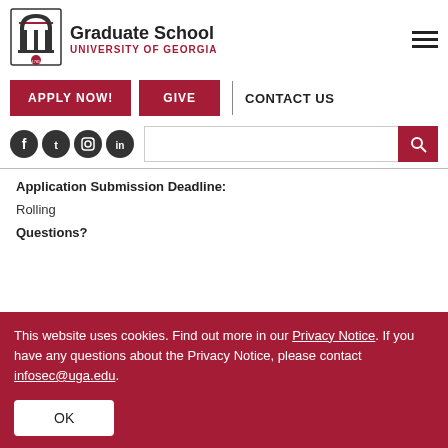[Figure (logo): University of Georgia Graduate School logo with arch and 1785]
Graduate School UNIVERSITY OF GEORGIA
[Figure (other): Hamburger menu icon]
APPLY NOW! | GIVE | CONTACT US
[Figure (other): Social media icons: Facebook, Twitter, Instagram, LinkedIn and search bar]
Application Submission Deadline:
Rolling
Questions?
This website uses cookies. Find out more in our Privacy Notice. If you have any questions about the Privacy Notice, please contact infosec@uga.edu.
OK